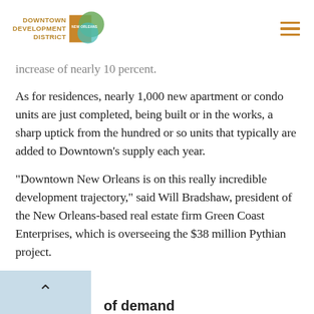Downtown Development District New Orleans
increase of nearly 10 percent.
As for residences, nearly 1,000 new apartment or condo units are just completed, being built or in the works, a sharp uptick from the hundred or so units that typically are added to Downtown’s supply each year.
“Downtown New Orleans is on this really incredible development trajectory,” said Will Bradshaw, president of the New Orleans-based real estate firm Green Coast Enterprises, which is overseeing the $38 million Pythian project.
of demand